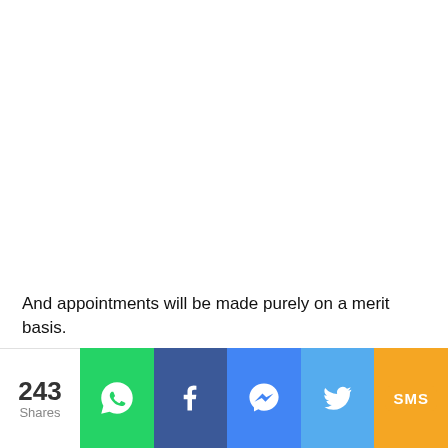And appointments will be made purely on a merit basis.
[Figure (infographic): Social share bar showing 243 shares with buttons for WhatsApp (green), Facebook (dark blue), Messenger (blue), Twitter (light blue), and SMS (yellow/orange)]